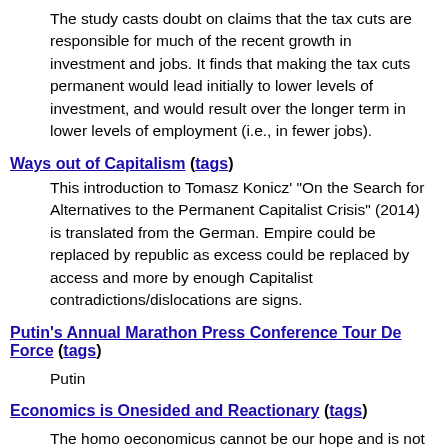The study casts doubt on claims that the tax cuts are responsible for much of the recent growth in investment and jobs. It finds that making the tax cuts permanent would lead initially to lower levels of investment, and would result over the longer term in lower levels of employment (i.e., in fewer jobs).
Ways out of Capitalism (tags)
This introduction to Tomasz Konicz' "On the Search for Alternatives to the Permanent Capitalist Crisis" (2014) is translated from the German. Empire could be replaced by republic as excess could be replaced by access and more by enough Capitalist contradictions/dislocations are signs.
Putin's Annual Marathon Press Conference Tour De Force (tags)
Putin
Economics is Onesided and Reactionary (tags)
The homo oeconomicus cannot be our hope and is not desirable or future-friendly. The economic benefits to